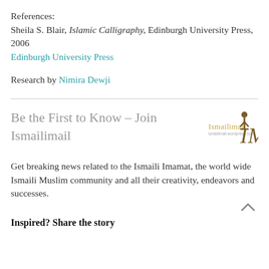References:
Sheila S. Blair, Islamic Calligraphy, Edinburgh University Press, 2006
Edinburgh University Press
Research by Nimira Dewji
Be the First to Know – Join Ismailimail
Get breaking news related to the Ismaili Imamat, the world wide Ismaili Muslim community and all their creativity, endeavors and successes.
Inspired? Share the story